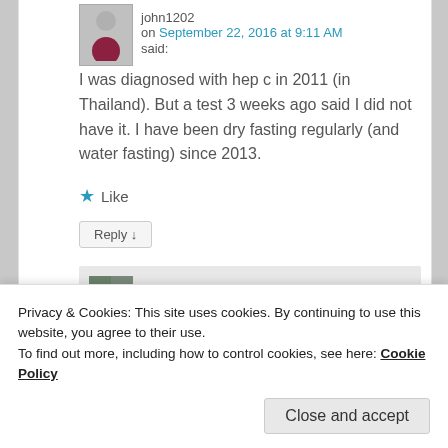john1202
on September 22, 2016 at 9:11 AM
said:
I was diagnosed with hep c in 2011 (in Thailand). But a test 3 weeks ago said I did not have it. I have been dry fasting regularly (and water fasting) since 2013.
★ Like
Reply ↓
esmeelafleur
Privacy & Cookies: This site uses cookies. By continuing to use this website, you agree to their use.
To find out more, including how to control cookies, see here: Cookie Policy
Close and accept